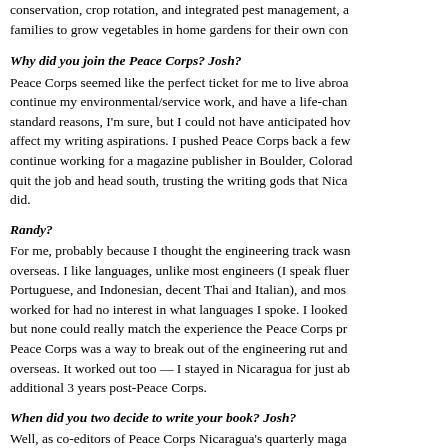conservation, crop rotation, and integrated pest management, a families to grow vegetables in home gardens for their own con
Why did you join the Peace Corps? Josh?
Peace Corps seemed like the perfect ticket for me to live abroa continue my environmental/service work, and have a life-chan standard reasons, I'm sure, but I could not have anticipated hov affect my writing aspirations. I pushed Peace Corps back a few continue working for a magazine publisher in Boulder, Colorad quit the job and head south, trusting the writing gods that Nica did.
Randy?
For me, probably because I thought the engineering track wasn overseas. I like languages, unlike most engineers (I speak fluer Portuguese, and Indonesian, decent Thai and Italian), and mos worked for had no interest in what languages I spoke. I looked but none could really match the experience the Peace Corps pr Peace Corps was a way to break out of the engineering rut and overseas. It worked out too — I stayed in Nicaragua for just ab additional 3 years post-Peace Corps.
When did you two decide to write your book? Josh?
Well, as co-editors of Peace Corps Nicaragua's quarterly maga I discovered that we worked very well together, especially on c